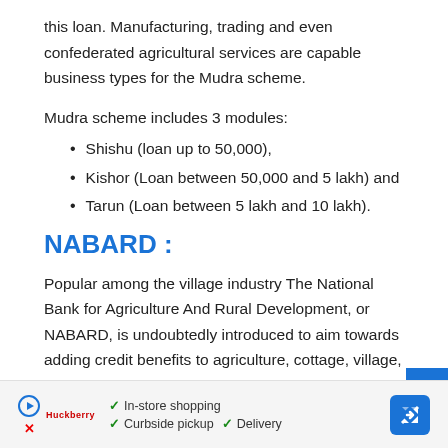this loan. Manufacturing, trading and even confederated agricultural services are capable business types for the Mudra scheme.
Mudra scheme includes 3 modules:
Shishu (loan up to 50,000),
Kishor (Loan between 50,000 and 5 lakh) and
Tarun (Loan between 5 lakh and 10 lakh).
NABARD :
Popular among the village industry The National Bank for Agriculture And Rural Development, or NABARD, is undoubtedly introduced to aim towards adding credit benefits to agriculture, cottage, village, and rural industries. Not only that it also renders
[Figure (other): Advertisement banner with play button, brand logo, checkmarks for In-store shopping, Curbside pickup, Delivery, and a navigation arrow icon]